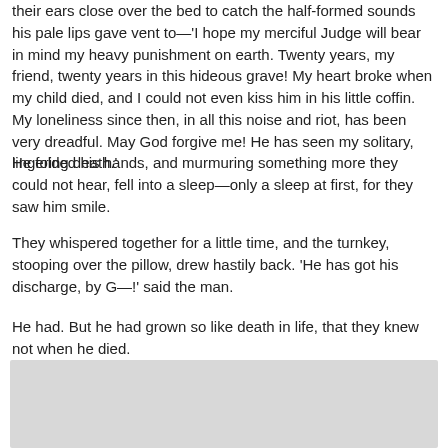their ears close over the bed to catch the half-formed sounds his pale lips gave vent to—'I hope my merciful Judge will bear in mind my heavy punishment on earth. Twenty years, my friend, twenty years in this hideous grave! My heart broke when my child died, and I could not even kiss him in his little coffin. My loneliness since then, in all this noise and riot, has been very dreadful. May God forgive me! He has seen my solitary, lingering death.'
He folded his hands, and murmuring something more they could not hear, fell into a sleep—only a sleep at first, for they saw him smile.
They whispered together for a little time, and the turnkey, stooping over the pillow, drew hastily back. 'He has got his discharge, by G—!' said the man.
He had. But he had grown so like death in life, that they knew not when he died.
[Figure (other): Gray rectangular box at the bottom of the page]